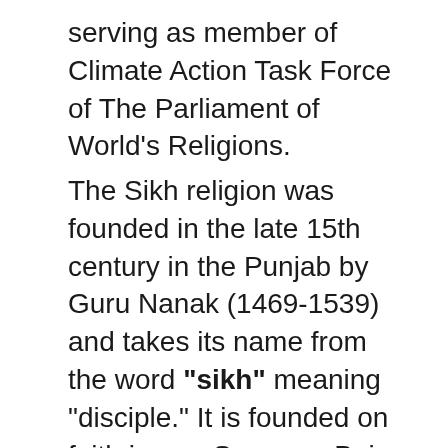serving as member of Climate Action Task Force of The Parliament of World's Religions.
The Sikh religion was founded in the late 15th century in the Punjab by Guru Nanak (1469-1539) and takes its name from the word "sikh" meaning "disciple." It is founded on faith in one Supreme Being and meditation on the divine Name with devotion, while living a householder life of virtue, honest work, and selfless service while seeking to